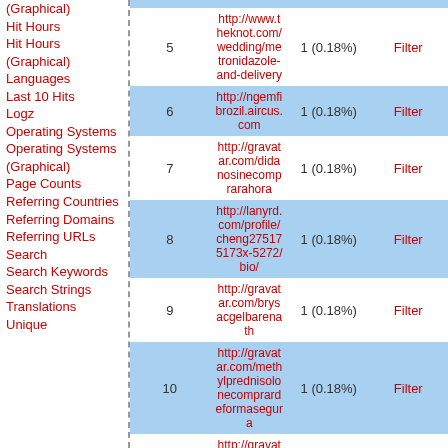(Graphical)
Hit Hours
Hit Hours (Graphical)
Languages
Last 10 Hits
Logz
Operating Systems
Operating Systems (Graphical)
Page Counts
Referring Countries
Referring Domains
Referring URLs
Search
Search Keywords
Search Strings
Translations
Unique
| # | URL | Count | Action |
| --- | --- | --- | --- |
| 5 | http://www.theknot.com/wedding/metronidazole-and-delivery | 1 (0.18%) | Filter |
| 6 | http://ngemfibrozil.aircus.com | 1 (0.18%) | Filter |
| 7 | http://gravatar.com/didanosinecomprarahora | 1 (0.18%) | Filter |
| 8 | http://lanyrd.com/profile/cheng275175173x-5272/bio/ | 1 (0.18%) | Filter |
| 9 | http://gravatar.com/brysacgelbarenath | 1 (0.18%) | Filter |
| 10 | http://gravatar.com/methylprednisolonecomprardeformasegura | 1 (0.18%) | Filter |
| 11 | http://gravatar.com/yhtmesalamine400mg | 1 (0.18%) | Filter |
| 12 | http://lanyrd.com/profile | 1 (0.18%) | Filter |